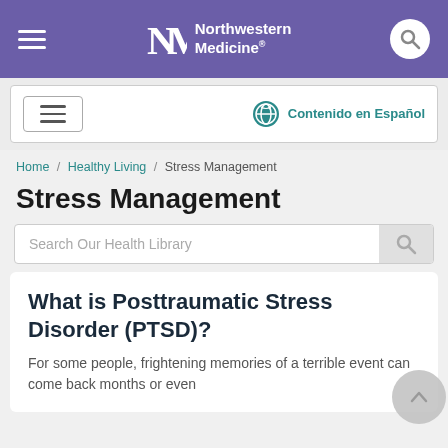Northwestern Medicine
Contenido en Español
Home / Healthy Living / Stress Management
Stress Management
Search Our Health Library
What is Posttraumatic Stress Disorder (PTSD)?
For some people, frightening memories of a terrible event can come back months or even